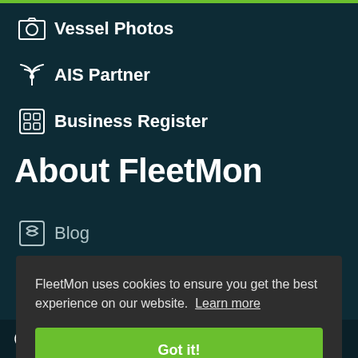Vessel Photos
AIS Partner
Business Register
About FleetMon
Blog
Our Story
FleetMon uses cookies to ensure you get the best experience on our website. Learn more
Got it!
Social media icons: Facebook, Twitter, LinkedIn, YouTube